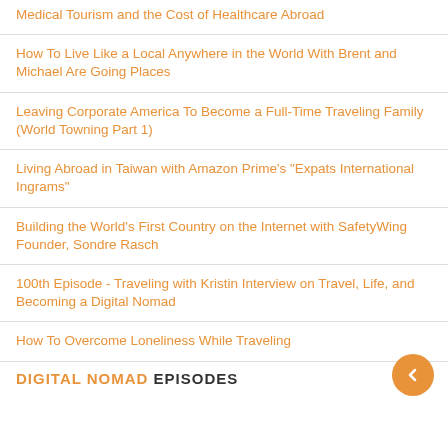Medical Tourism and the Cost of Healthcare Abroad
How To Live Like a Local Anywhere in the World With Brent and Michael Are Going Places
Leaving Corporate America To Become a Full-Time Traveling Family (World Towning Part 1)
Living Abroad in Taiwan with Amazon Prime's "Expats International Ingrams"
Building the World's First Country on the Internet with SafetyWing Founder, Sondre Rasch
100th Episode - Traveling with Kristin Interview on Travel, Life, and Becoming a Digital Nomad
How To Overcome Loneliness While Traveling
DIGITAL NOMAD EPISODES